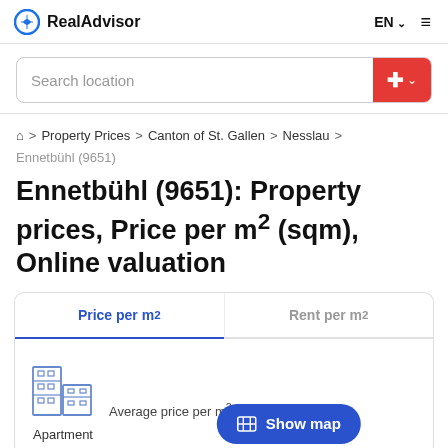RealAdvisor   EN  ☰
Search location
🏠 > Property Prices > Canton of St. Gallen > Nesslau > Ennetbühl (9651)
Ennetbühl (9651): Property prices, Price per m² (sqm), Online valuation
Price per m²	Rent per m²
Average price per m²
Apartment
Show map